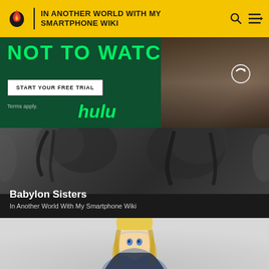IN ANOTHER WORLD WITH MY SMARTPHONE WIKI
[Figure (screenshot): Hulu advertisement banner with dark green background, 'NOT TO WATCH' text in green, 'START YOUR FREE TRIAL' button, Terms apply text, hulu logo, and photo of a man in school uniform]
[Figure (illustration): Dark anime panel showing two anime female characters in black and white style, with text 'Babylon Sisters' and 'In Another World With My Smartphone Wiki']
[Figure (illustration): Light gray panel showing an anime female character with blonde hair and blue eyes in partial view]